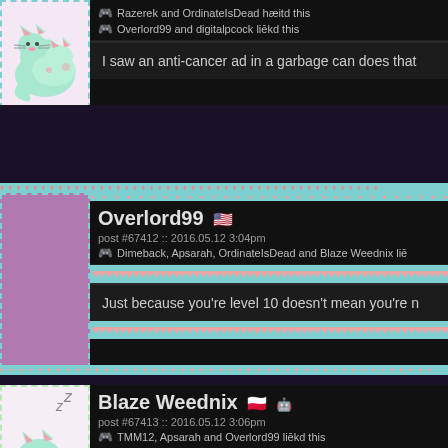[Figure (screenshot): Partial forum post top: avatar with cute cats on pink background, reaction lines showing Overlord99 and digitalpcock liked, message 'I saw an anti-cancer ad in a garbage can does that']
[Figure (screenshot): Forum post by Overlord99 (US flag): post #67412 :: 2016.05.12 3:04pm, Dimeback, Apsarah, OrdinateIsDead and Blaze Weednix liked, message 'Just because you're level 10 doesn't mean you're n', avatar is solid purple square]
[Figure (screenshot): Forum post by Blaze Weednix (Polish flag, robot icon): post #67413 :: 2016.05.12 3:06pm, TMM12 Apsarah and Overlord99 liked, OrdinateIsDead haeitd this, message 'u lil shit i'll rek u', avatar shows sleeping cats on light pink background]